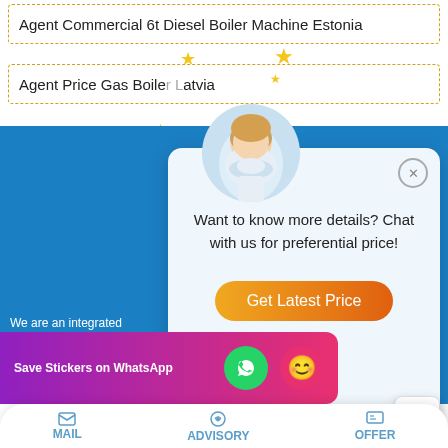Agent Commercial 6t Diesel Boiler Machine Estonia
Agent Price Gas Boiler Latvia
[Figure (screenshot): Chat popup with agent headshot, star decorations, text 'Want to know more details? Chat with us for preferential price!' and orange 'Get Latest Price' button]
[Figure (logo): Company logo with crescent moon/C shape in blue and dark blue]
We are an integrated supplier of clean boilers in China, mainly engaged in gas boilers, fuel oil boilers, electric boilers, coal-fired boilers, biomass boilers, etc. If you are interested, please
[Figure (screenshot): Save Stickers on WhatsApp banner with WhatsApp icon and emoji icon]
MAIL
ADVISORY
OFFER